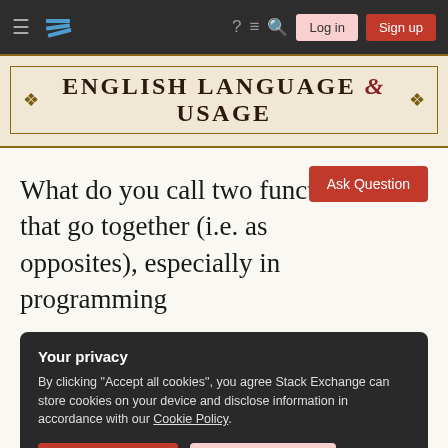English Language & Usage - Stack Exchange navigation bar with Log in and Sign up buttons
[Figure (screenshot): Stack Exchange site banner with decorative border reading ENGLISH LANGUAGE & USAGE]
Ask Question
What do you call two functions that go together (i.e. as opposites), especially in programming
Your privacy
By clicking "Accept all cookies", you agree Stack Exchange can store cookies on your device and disclose information in accordance with our Cookie Policy.
Accept all cookies  Customize settings